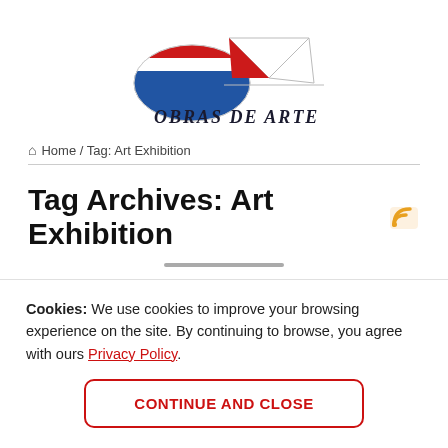[Figure (logo): Obras de Arte logo — an oval with Dutch flag colors (red, white, blue) overlapping a red triangle/mountain shape with gray outlines, and italic text 'OBRAS DE ARTE' below]
🏠 Home / Tag: Art Exhibition
Tag Archives: Art Exhibition
Cookies: We use cookies to improve your browsing experience on the site. By continuing to browse, you agree with ours Privacy Policy.
CONTINUE AND CLOSE